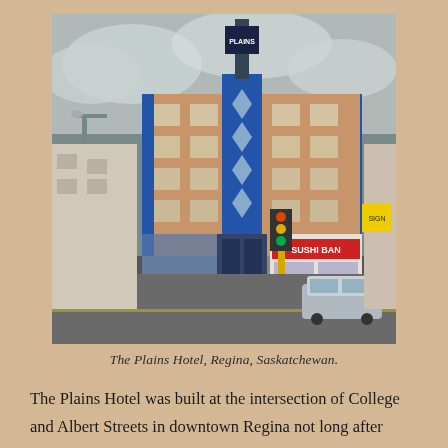[Figure (photo): Street-level photograph of The Plains Hotel in Regina, Saskatchewan. A multi-storey brick building with blue facade accents and a tall vertical sign reading 'PLAINS' at the top. A Sushi Ban restaurant is visible at street level to the right. A yellow traffic light pole stands in the foreground, and a car is parked on the right side of the street.]
The Plains Hotel, Regina, Saskatchewan.
The Plains Hotel was built at the intersection of College and Albert Streets in downtown Regina not long after WWI. In the early days of the Plains Hotel, it was a convenient source of affordable accommodation for soldiers returning from the war, as well as workers